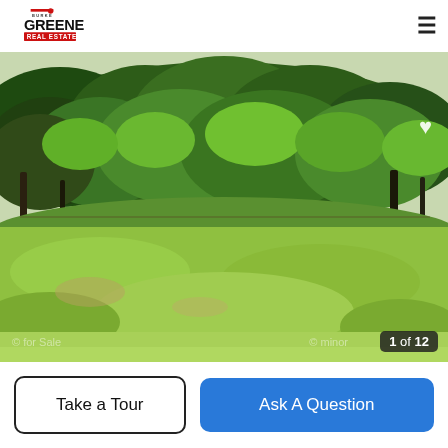Greene Real Estate
[Figure (photo): Outdoor photo of a grassy yard with a dense tree line of green leafy trees in the background, open lawn in the foreground, taken on a sunny day.]
1 of 12
Take a Tour
Ask A Question